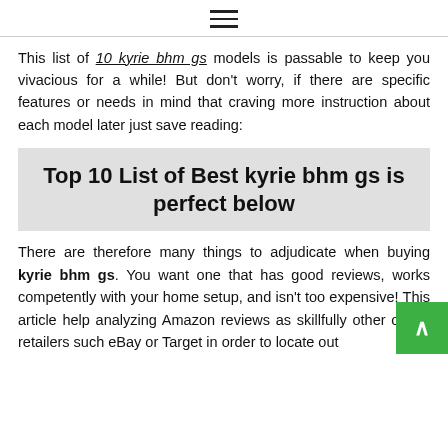≡
This list of 10 kyrie bhm gs models is passable to keep you vivacious for a while! But don't worry, if there are specific features or needs in mind that craving more instruction about each model later just save reading:
Top 10 List of Best kyrie bhm gs is perfect below
There are therefore many things to adjudicate when buying kyrie bhm gs. You want one that has good reviews, works competently with your home setup, and isn't too expensive! This article help analyzing Amazon reviews as skillfully other online retailers such eBay or Target in order to locate out